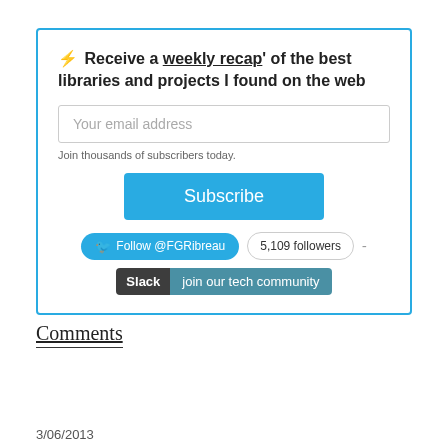⚡ Receive a weekly recap' of the best libraries and projects I found on the web
Your email address
Join thousands of subscribers today.
Subscribe
Follow @FGRibreau   5,109 followers
Slack join our tech community
Comments
3/06/2013